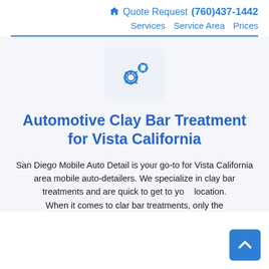🏠 Quote Request (760)437-1442 | Services | Service Area | Prices
[Figure (illustration): A light blue square icon with two gear/cog symbols in blue, representing a services or settings icon]
Automotive Clay Bar Treatment for Vista California
San Diego Mobile Auto Detail is your go-to for Vista California area mobile auto-detailers. We specialize in clay bar treatments and are quick to get to your location. When it comes to clay bar treatments, only the